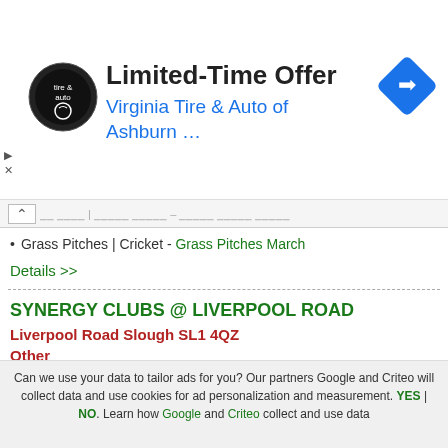[Figure (screenshot): Advertisement banner for Virginia Tire & Auto of Ashburn with logo, title 'Limited-Time Offer', and a blue navigation arrow icon]
Grass Pitches | Cricket - Grass Pitches March
Details >>
SYNERGY CLUBS @ LIVERPOOL ROAD
Liverpool Road Slough SL1 4QZ
Other
Health and Fitness Suites | Health & Fitness Suite - Health and Fitness Suites Slough
Details >>
Can we use your data to tailor ads for you? Our partners Google and Criteo will collect data and use cookies for ad personalization and measurement. YES | NO. Learn how Google and Criteo collect and use data